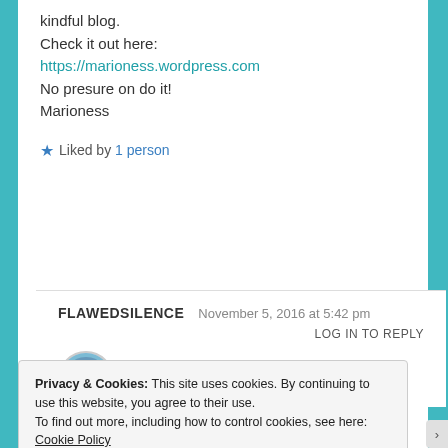kindful blog.
Check it out here:
https://marioness.wordpress.com
No presure on do it!
Marioness
★ Liked by 1 person
FLAWEDSILENCE   November 5, 2016 at 5:42 pm
LOG IN TO REPLY
Hiiiii 😀
Privacy & Cookies: This site uses cookies. By continuing to use this website, you agree to their use.
To find out more, including how to control cookies, see here: Cookie Policy
Close and accept